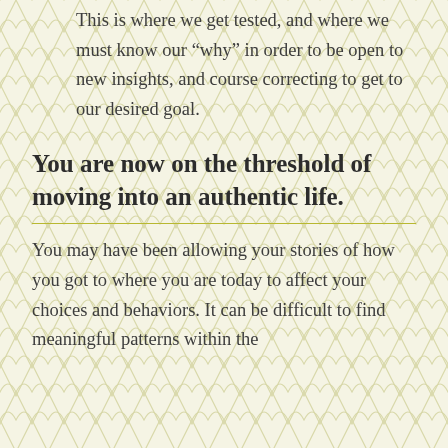This is where we get tested, and where we must know our “why” in order to be open to new insights, and course correcting to get to our desired goal.
You are now on the threshold of moving into an authentic life.
You may have been allowing your stories of how you got to where you are today to affect your choices and behaviors. It can be difficult to find meaningful patterns within the